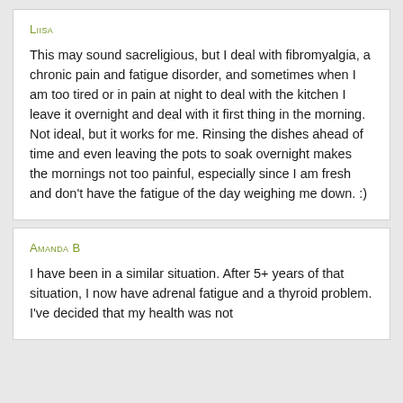Liisa
This may sound sacreligious, but I deal with fibromyalgia, a chronic pain and fatigue disorder, and sometimes when I am too tired or in pain at night to deal with the kitchen I leave it overnight and deal with it first thing in the morning. Not ideal, but it works for me. Rinsing the dishes ahead of time and even leaving the pots to soak overnight makes the mornings not too painful, especially since I am fresh and don't have the fatigue of the day weighing me down. :)
Amanda B
I have been in a similar situation. After 5+ years of that situation, I now have adrenal fatigue and a thyroid problem. I've decided that my health was not